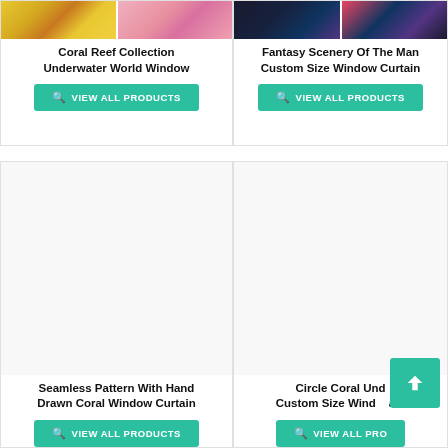[Figure (screenshot): Product card: Coral Reef Collection Underwater World Window with product images and view all products button]
[Figure (screenshot): Product card: Fantasy Scenery Of The Man Custom Size Window Curtain with dark fantasy images and view all products button]
[Figure (screenshot): Product card: Seamless Pattern With Hand Drawn Coral Window Curtain with blank image area and view all products button]
[Figure (screenshot): Product card: Circle Coral Underwater Custom Size Window Curtain with blank image area and view all products button, with scroll-to-top overlay button]